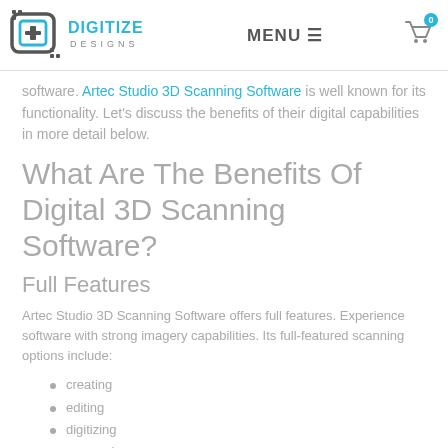MENU  [navigation icon] [cart icon with badge 0]
software. Artec Studio 3D Scanning Software is well known for its functionality. Let's discuss the benefits of their digital capabilities in more detail below.
What Are The Benefits Of Digital 3D Scanning Software?
Full Features
Artec Studio 3D Scanning Software offers full features. Experience software with strong imagery capabilities. Its full-featured scanning options include:
creating
editing
digitizing
processing